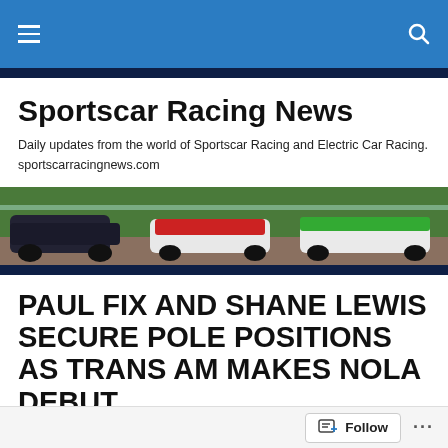Sportscar Racing News — navigation bar
Sportscar Racing News
Daily updates from the world of Sportscar Racing and Electric Car Racing. sportscarracingnews.com
[Figure (photo): Banner photo showing multiple sportscar racing prototypes on track including dark LMP cars and green/white/red cars racing together]
PAUL FIX AND SHANE LEWIS SECURE POLE POSITIONS AS TRANS AM MAKES NOLA DEBUT
Follow